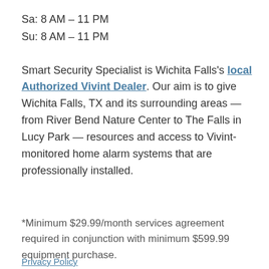Sa: 8 AM – 11 PM
Su: 8 AM – 11 PM
Smart Security Specialist is Wichita Falls's local Authorized Vivint Dealer. Our aim is to give Wichita Falls, TX and its surrounding areas — from River Bend Nature Center to The Falls in Lucy Park — resources and access to Vivint-monitored home alarm systems that are professionally installed.
*Minimum $29.99/month services agreement required in conjunction with minimum $599.99 equipment purchase.
Privacy Policy